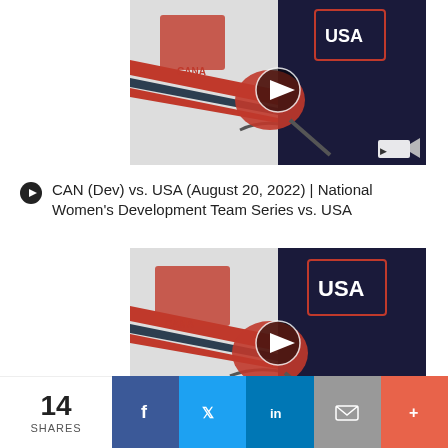[Figure (photo): Hockey jerseys - Canada (white) and USA (navy) players close up, with a video play button overlay and video camera icon]
CAN (Dev) vs. USA (August 20, 2022) | National Women's Development Team Series vs. USA
[Figure (photo): Second hockey jerseys close-up - Canada (white) and USA (navy) players, with a video play button overlay]
14 SHARES  [Facebook] [Twitter] [LinkedIn] [Email] [More]